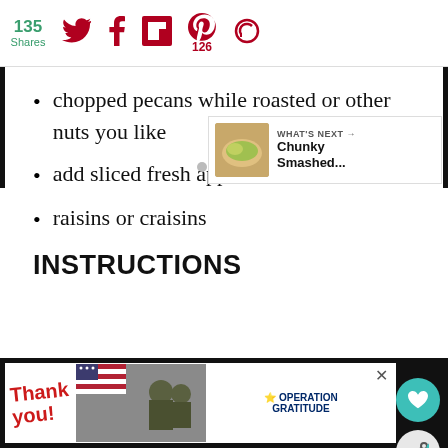135 Shares | Twitter | Facebook | Flipboard | Pinterest 126 | Other
chopped pecans while roasted or other nuts you like
add sliced fresh apples
raisins or craisins
INSTRUCTIONS
Thank you! | Operation Gratitude ad | What's Next → Chunky Smashed...